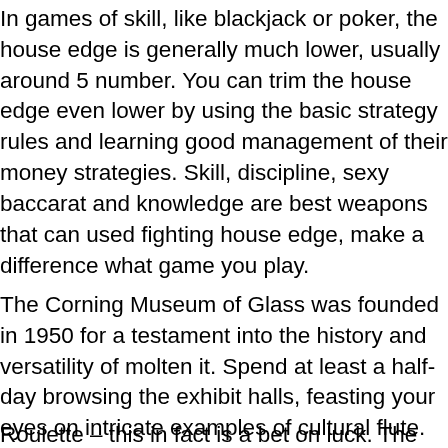In games of skill, like blackjack or poker, the house edge is generally much lower, usually around 5 number. You can trim the house edge even lower by using the basic strategy rules and learning good management of their money strategies. Skill, discipline, sexy baccarat and knowledge are best weapons that can used fighting house edge, make a difference what game you play.
The Corning Museum of Glass was founded in 1950 for a testament into the history and versatility of molten it. Spend at least a half-day browsing the exhibit halls, feasting your eyes on intricate examples of cultural flute. You will learn the history, art and science of glassmaking.
Roulette – this in fact is a bet on luck. The